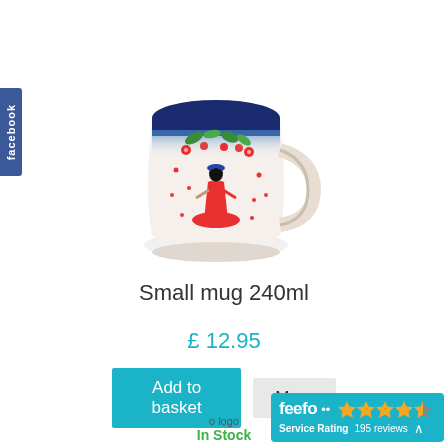[Figure (photo): A decorative Polish pottery small mug with a cream/white body featuring a painted girl in a red dress with dark hair and a blue hat, surrounded by red flowers and green leaves. The top rim is dark navy blue with a speckled blue-to-white gradient. The mug has a cream-colored handle on the right side.]
Small mug 240ml
£ 12.95
Add to basket
More
o logo
In Stock
[Figure (logo): Feefo service rating badge showing 4 out of 5 stars and 195 reviews, teal/cyan background with white text.]